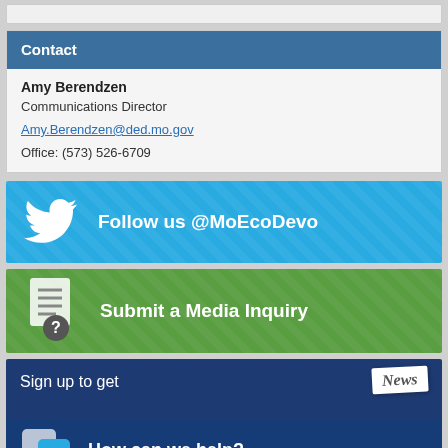Contact
Amy Berendzen
Communications Director
Amy.Berendzen@ded.mo.gov
Office: (573) 526-6709
[Figure (infographic): Twitter banner: Follow us @MoEcoDevo with Twitter bird icon on cyan/blue background]
[Figure (infographic): Green banner: Submit a Media Inquiry with document/question mark icon]
[Figure (infographic): Dark blue banner: Sign up to get News / How can we help? with chat bubble icons]